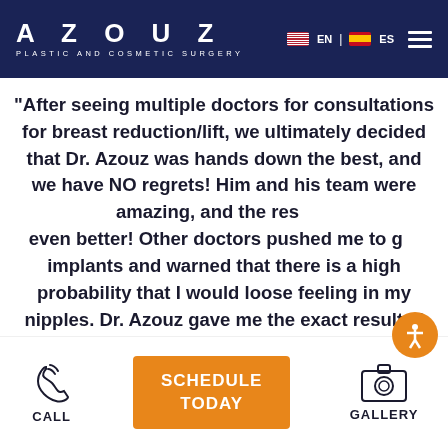AZOUZ PLASTIC AND COSMETIC SURGERY — EN | ES navigation header
“After seeing multiple doctors for consultations for breast reduction/lift, we ultimately decided that Dr. Azouz was hands down the best, and we have NO regrets! Him and his team were amazing, and the results even better! Other doctors pushed me to get implants and warned that there is a high probability that I would loose feeling in my nipples. Dr. Azouz gave me the exact results I wanted, without implants and no loss of feeling at
CALL | SCHEDULE TODAY | GALLERY